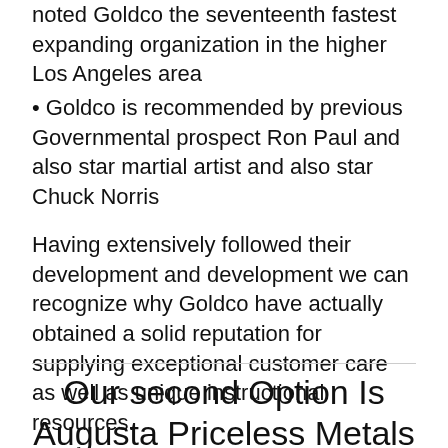noted Goldco the seventeenth fastest expanding organization in the higher Los Angeles area
Goldco is recommended by previous Governmental prospect Ron Paul and also star martial artist and also star Chuck Norris
Having extensively followed their development and development we can recognize why Goldco have actually obtained a solid reputation for supplying exceptional customer care as well as unique instructional resources.
Our second Option Is Augusta Priceless Metals